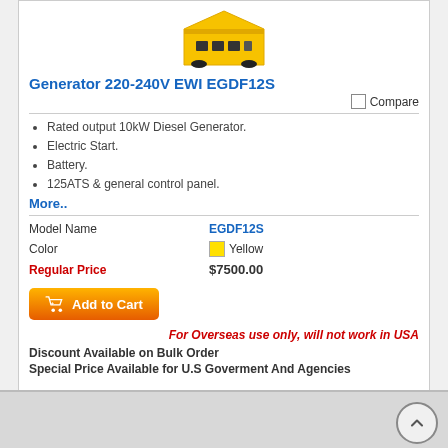[Figure (photo): Yellow diesel generator product image]
Generator 220-240V EWI EGDF12S
Rated output 10kW Diesel Generator.
Electric Start.
Battery.
125ATS & general control panel.
More..
|  |  |
| --- | --- |
| Model Name | EGDF12S |
| Color | Yellow |
| Regular Price | $7500.00 |
For Overseas use only, will not work in USA
Discount Available on Bulk Order
Special Price Available for U.S Goverment And Agencies